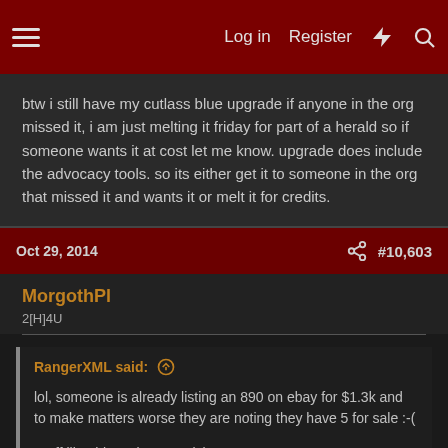Log in  Register  #  Search
btw i still have my cutlass blue upgrade if anyone in the org missed it, i am just melting it friday for part of a herald so if someone wants it at cost let me know. upgrade does include the advocacy tools. so its either get it to someone in the org that missed it and wants it or melt it for credits.
Oct 29, 2014  #10,603
MorgothPl
2[H]4U
RangerXML said:
lol, someone is already listing an 890 on ebay for $1.3k and to make matters worse they are noting they have 5 for sale :-(

Stuff like this makes me sick.